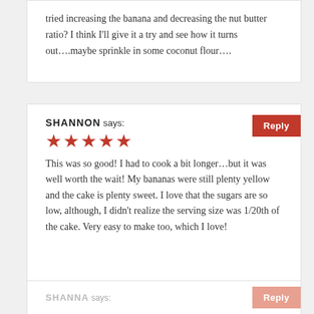tried increasing the banana and decreasing the nut butter ratio? I think I'll give it a try and see how it turns out….maybe sprinkle in some coconut flour….
SHANNON says:
★★★★★
This was so good! I had to cook a bit longer…but it was well worth the wait! My bananas were still plenty yellow and the cake is plenty sweet. I love that the sugars are so low, although, I didn't realize the serving size was 1/20th of the cake. Very easy to make too, which I love!
SHANNA says: